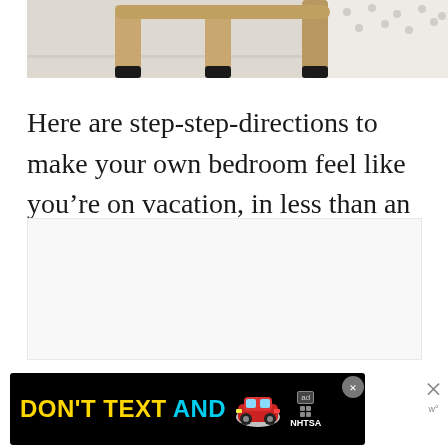[Figure (photo): Bottom portion of wooden furniture legs (chair or stool) with dark rubber feet on a light floor, against a white wall with polka dot pattern visible on the right side]
Here are step-step-directions to make your own bedroom feel like you’re on vacation, in less than an hour.
[Figure (screenshot): Advertisement banner reading 'DON'T TEXT AND' with a red car emoji and NHTSA logo on black background, with a close X button and a side dismiss button]